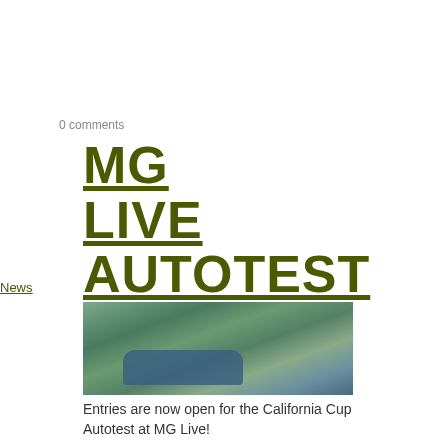0 comments
MG LIVE AUTOTEST
News
[Figure (photo): A classic MG sports car navigating an autotest course, viewed from above and side angle, with cones and other cars visible in the background.]
Entries are now open for the California Cup Autotest at MG Live!